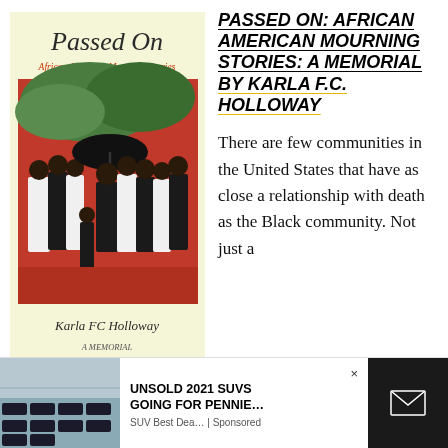[Figure (illustration): Book cover of 'Passed On: African American Mourning Stories' by Karla FC Holloway. Cream/yellow background. Title 'Passed On' in large serif font at top. Subtitle 'African American Mourning Stories' in red/orange serif font below. Central image is a painting of a group of Black figures in mourning attire (black and white clothing) gathered outdoors, one figure holding a black umbrella. Author name 'Karla FC Holloway' and 'A Memorial' at the bottom.]
PASSED ON: AFRICAN AMERICAN MOURNING STORIES: A MEMORIAL BY KARLA F.C. HOLLOWAY
There are few communities in the United States that have as close a relationship with death as the Black community. Not just a one. From
[Figure (photo): Advertisement image showing a parking lot full of cars/SUVs from an aerial view.]
UNSOLD 2021 SUVS GOING FOR PENNIE...
SUV Best Dea... | Sponsored